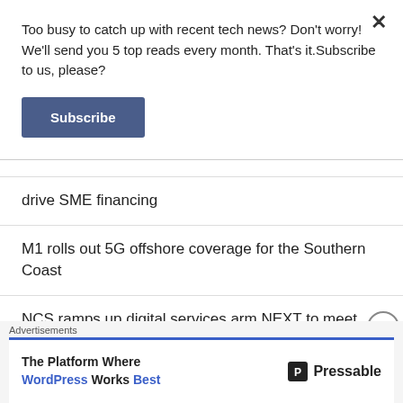Too busy to catch up with recent tech news? Don't worry! We'll send you 5 top reads every month. That's it.Subscribe to us, please?
Subscribe
drive SME financing
M1 rolls out 5G offshore coverage for the Southern Coast
NCS ramps up digital services arm NEXT to meet growing global demand
Logitech Introduces the G502 X Gaming Mouse
Advertisements
The Platform Where WordPress Works Best   Pressable